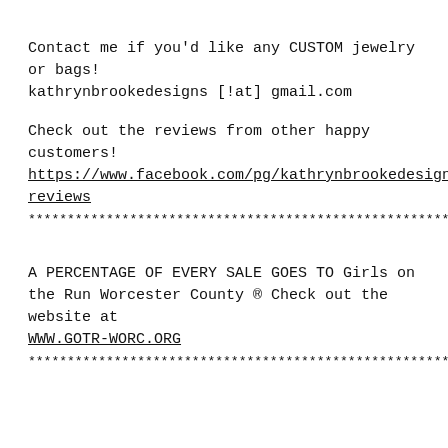Contact me if you'd like any CUSTOM jewelry or bags! kathrynbrookedesigns [!at] gmail.com
Check out the reviews from other happy customers! https://www.facebook.com/pg/kathrynbrookedesigns/reviews
************************************************************
A PERCENTAGE OF EVERY SALE GOES TO Girls on the Run Worcester County ® Check out the website at WWW.GOTR-WORC.ORG
************************************************************